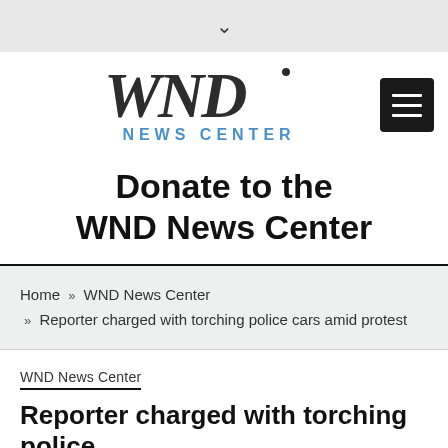[Figure (logo): WND News Center logo with hamburger menu button]
Donate to the WND News Center
Home » WND News Center » Reporter charged with torching police cars amid protest
WND News Center
Reporter charged with torching police